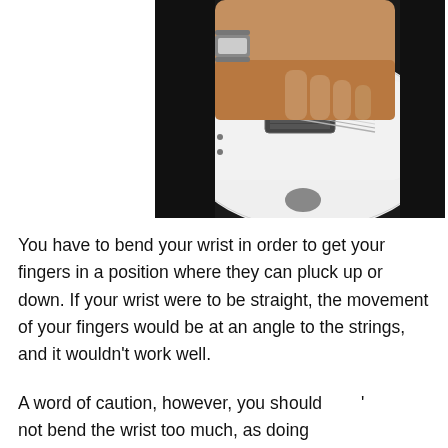[Figure (photo): Close-up photo of a person's hand with a bracelet/watch, playing or resting on a white electric guitar, showing the guitar body, pickups, strings, and fretboard against a dark background.]
You have to bend your wrist in order to get your fingers in a position where they can pluck up or down. If your wrist were to be straight, the movement of your fingers would be at an angle to the strings, and it wouldn't work well.
A word of caution, however, you should not bend the wrist too much, as doing so will result in pain sooner than later